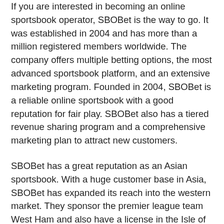If you are interested in becoming an online sportsbook operator, SBOBet is the way to go. It was established in 2004 and has more than a million registered members worldwide. The company offers multiple betting options, the most advanced sportsbook platform, and an extensive marketing program. Founded in 2004, SBOBet is a reliable online sportsbook with a good reputation for fair play. SBOBet also has a tiered revenue sharing program and a comprehensive marketing plan to attract new customers.
SBOBet has a great reputation as an Asian sportsbook. With a huge customer base in Asia, SBOBet has expanded its reach into the western market. They sponsor the premier league team West Ham and also have a license in the Isle of Man. Their service is available in multiple languages, with excellent customer support. There are several other